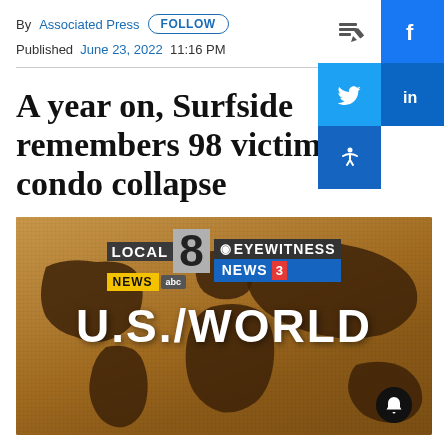By Associated Press  FOLLOW
Published  June 23, 2022  11:16 PM
A year on, Surfside remembers 98 victims of condo collapse
[Figure (screenshot): Local 8 CBS Eyewitness News 3 U.S./World news segment thumbnail with world map background]